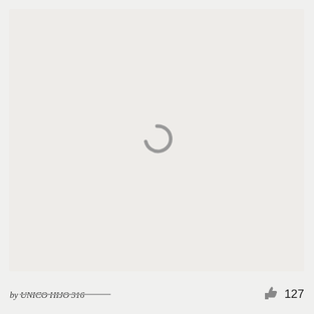[Figure (other): Large light gray rectangle area with a loading spinner icon (partial circle arc) centered in the middle, indicating an image that has not loaded yet.]
by UNICO HIJO 316
[Figure (other): Thumbs up like icon in gray]
127